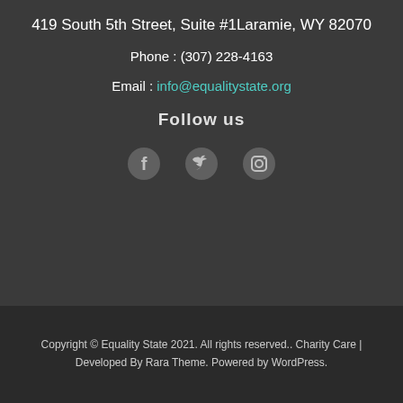419 South 5th Street, Suite #1Laramie, WY 82070
Phone : (307) 228-4163
Email : info@equalitystate.org
Follow us
[Figure (illustration): Three social media icons: Facebook (f), Twitter (bird), Instagram (camera outline)]
Copyright © Equality State 2021. All rights reserved.. Charity Care | Developed By Rara Theme. Powered by WordPress.